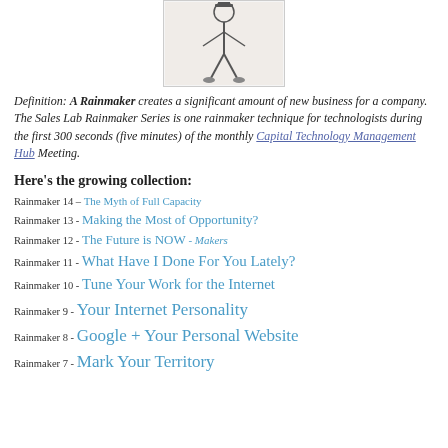[Figure (illustration): Sketch/illustration of a person (rainmaker figure), black and white line drawing]
Definition: A Rainmaker creates a significant amount of new business for a company. The Sales Lab Rainmaker Series is one rainmaker technique for technologists during the first 300 seconds (five minutes) of the monthly Capital Technology Management Hub Meeting.
Here's the growing collection:
Rainmaker 14 – The Myth of Full Capacity
Rainmaker 13 - Making the Most of Opportunity?
Rainmaker 12 - The Future is NOW - Makers
Rainmaker 11 - What Have I Done For You Lately?
Rainmaker 10 - Tune Your Work for the Internet
Rainmaker 9 - Your Internet Personality
Rainmaker 8 - Google + Your Personal Website
Rainmaker 7 - Mark Your Territory